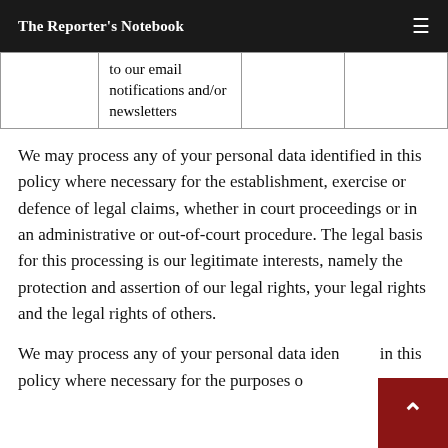The Reporter's Notebook
|  |  |  |  |
| --- | --- | --- | --- |
|  | to our email notifications and/or newsletters |  |  |
We may process any of your personal data identified in this policy where necessary for the establishment, exercise or defence of legal claims, whether in court proceedings or in an administrative or out-of-court procedure. The legal basis for this processing is our legitimate interests, namely the protection and assertion of our legal rights, your legal rights and the legal rights of others.
We may process any of your personal data identified in this policy where necessary for the purposes of obtaining or maintaining insurance coverage,